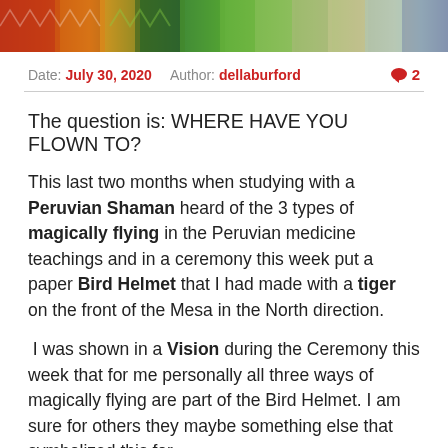[Figure (photo): Colorful photo strip showing various items including textiles, crafts, and decorative objects]
Date: July 30, 2020  Author: dellaburford  💬 2
The question is: WHERE HAVE YOU FLOWN TO?
This last two months when studying with a Peruvian Shaman heard of the 3 types of magically flying in the Peruvian medicine teachings and in a ceremony this week put a paper Bird Helmet that I had made with a tiger on the front of the Mesa in the North direction.
I was shown in a Vision during the Ceremony this week that for me personally all three ways of magically flying are part of the Bird Helmet. I am sure for others they maybe something else that symbolized this for